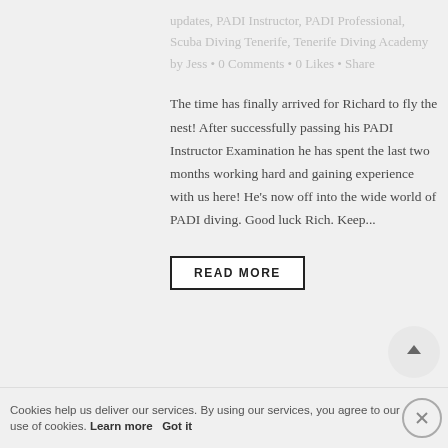updates, PADI Instructor, PADI Professional, Scuba Diving Tenerife, Tenerife Diving Academy by Jess • 0 Comments • 0 Likes • Share
The time has finally arrived for Richard to fly the nest! After successfully passing his PADI Instructor Examination he has spent the last two months working hard and gaining experience with us here! He's now off into the wide world of PADI diving. Good luck Rich. Keep...
READ MORE
Cookies help us deliver our services. By using our services, you agree to our use of cookies. Learn more Got it